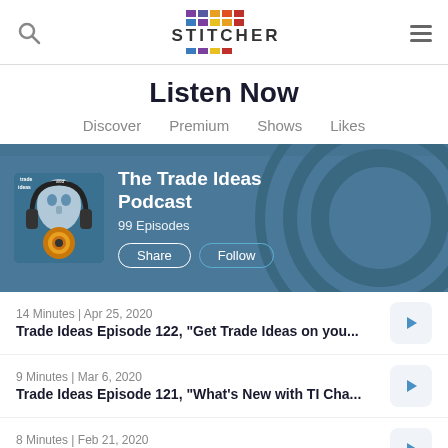Stitcher
Listen Now
Discover  Premium  Shows  Likes
[Figure (screenshot): The Trade Ideas Podcast banner with podcast artwork showing a robotic figure with headphones, title 'The Trade Ideas Podcast', 99 Episodes, Share and Follow buttons on a blue background]
14 Minutes | Apr 25, 2020
Trade Ideas Episode 122, "Get Trade Ideas on you...
9 Minutes | Mar 6, 2020
Trade Ideas Episode 121, "What's New with TI Cha...
8 Minutes | Feb 21, 2020
Trade Ideas Episode 120, "Introducing the new #T...
9 Minutes | Jan 30, 2020